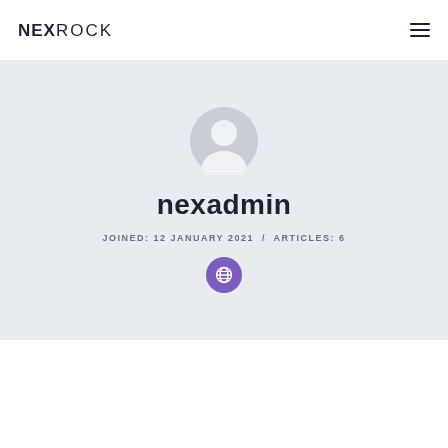NEXROCK
[Figure (illustration): User profile page with avatar, username nexadmin, joined date and articles count, and a globe icon button]
nexadmin
JOINED: 12 JANUARY 2021  /  ARTICLES: 6